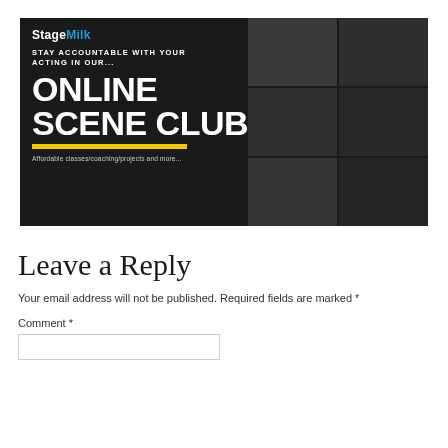[Figure (illustration): StageMilk Online Scene Club promotional banner with dark background, grid of actor headshots on right side, large white bold text 'ONLINE SCENE CLUB', yellow horizontal bar, tagline 'STAY ACCOUNTABLE WITH YOUR ACTING IN OUR...' and subtitle 'Affordable classes/coaching/projects and more...']
Leave a Reply
Your email address will not be published. Required fields are marked *
Comment *